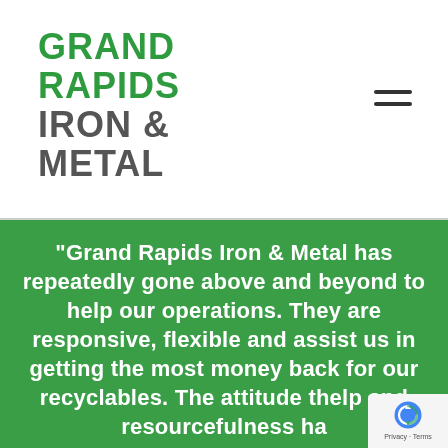[Figure (logo): Grand Rapids Iron & Metal company logo in green and grey text]
“Grand Rapids Iron & Metal has repeatedly gone above and beyond to help our operations. They are responsive, flexible and assist us in getting the most money back for our recyclables. The attitude t help and resourcefulness ha